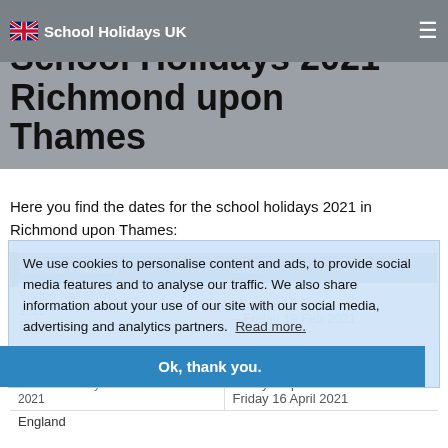School Holidays UK
School Holidays 2021 Richmond upon Thames
Here you find the dates for the school holidays 2021 in Richmond upon Thames:
| School Holiday | Date |
| --- | --- |
| Spring half term 2021 England | Monday 15 February – Friday 19 February |
| Easter holiday 2021 England | Friday 2 April 2021 – Friday 16 April 2021 |
We use cookies to personalise content and ads, to provide social media features and to analyse our traffic. We also share information about your use of our site with our social media, advertising and analytics partners. Read more.
Ok, thank you.